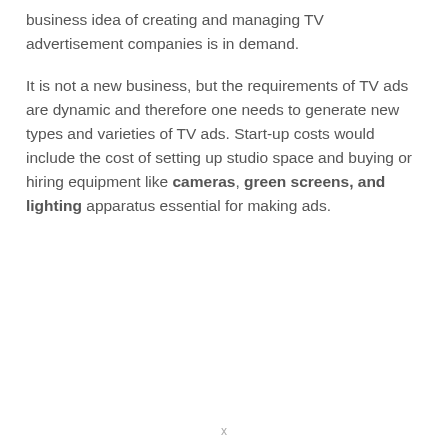business idea of creating and managing TV advertisement companies is in demand.
It is not a new business, but the requirements of TV ads are dynamic and therefore one needs to generate new types and varieties of TV ads. Start-up costs would include the cost of setting up studio space and buying or hiring equipment like cameras, green screens, and lighting apparatus essential for making ads.
x